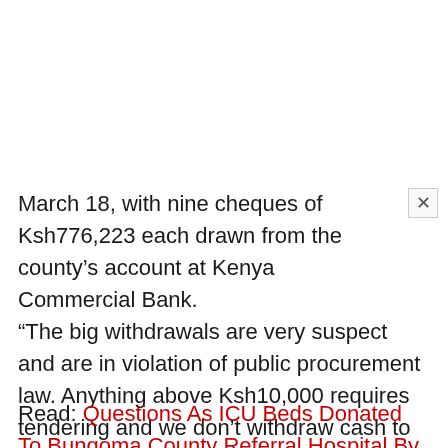March 18, with nine cheques of Ksh776,223 each drawn from the county's account at Kenya Commercial Bank.
“The big withdrawals are very suspect and are in violation of public procurement law. Anything above Ksh10,000 requires tendering and we don’t withdraw cash to pay suppliers. The money should be wired,” said a manager at EACC Bungoma office as quoted by the Nation.
Read: Questions As ICU Beds Donated To Bungoma County Referral Hospital By First Lady Margaret